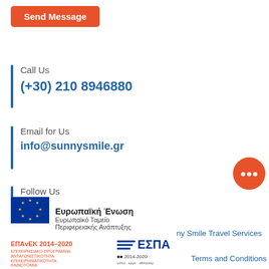Send Message
Call Us
(+30) 210 8946880
Email for Us
info@sunnysmile.gr
Contact us
Follow Us
×
[Figure (logo): EU flag with stars on blue background]
Ευρωπαϊκή Ένωση
Ευρωπαϊκό Ταμείο
Περιφερειακής Ανάπτυξης
ny Smile Travel Services
[Figure (logo): EPAvEK 2014-2020 ΕΠΙΧΕΙΡΗΣΙΑΚΟ ΠΡΟΓΡΑΜΜΑ ΑΝΤΑΓΩΝΙΣΤΙΚΟΤΗΤΑ ΕΠΙΧΕΙΡΗΜΑΤΙΚΟΤΗΤΑ ΚΑΙΝΟΤΟΜΙΑ logo]
[Figure (logo): ΕΣΠΑ 2014-2020 logo]
Terms and Conditions